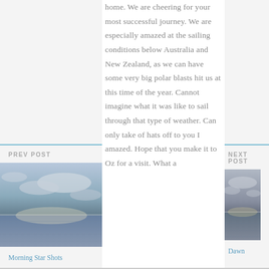home. We are cheering for your most successful journey. We are especially amazed at the sailing conditions below Australia and New Zealand, as we can have some very big polar blasts hit us at this time of the year. Cannot imagine what it was like to sail through that type of weather. Can only take of hats off to you I amazed. Hope that you make it to Oz for a visit. What a
PREV POST
[Figure (photo): Ocean horizon photo with clouds and water, morning light]
Morning Star Shots
NEXT POST
[Figure (photo): Ocean horizon photo with overcast sky and water, dawn light]
Dawn